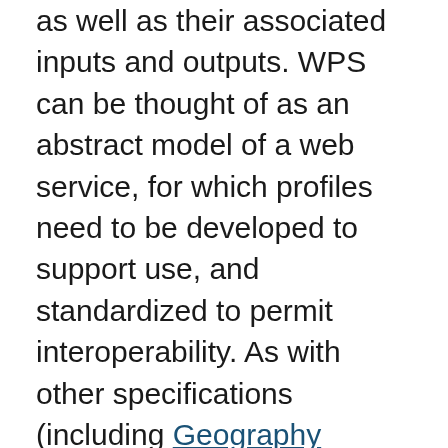as well as their associated inputs and outputs. WPS can be thought of as an abstract model of a web service, for which profiles need to be developed to support use, and standardized to permit interoperability. As with other specifications (including Geography Markup Language (GML) and Catalogue Services for the Web (CSW)), it is the development, publication, and adoption of profiles that define the specific uses of the WPS standard.
WPS discovery and binding mechanisms follow the model set by Web Map Service (WMS) and Web Feature Service (WFS), in